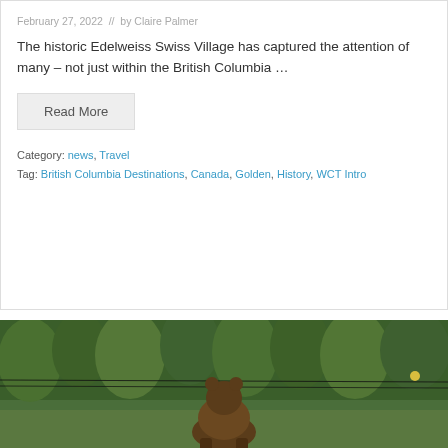February 27, 2022  //  by Claire Palmer
The historic Edelweiss Swiss Village has captured the attention of many – not just within the British Columbia …
Read More
Category: news, Travel
Tag: British Columbia Destinations, Canada, Golden, History, WCT Intro
[Figure (photo): Photo of a bear from behind, standing near a fence or power line with dense green trees in the background]